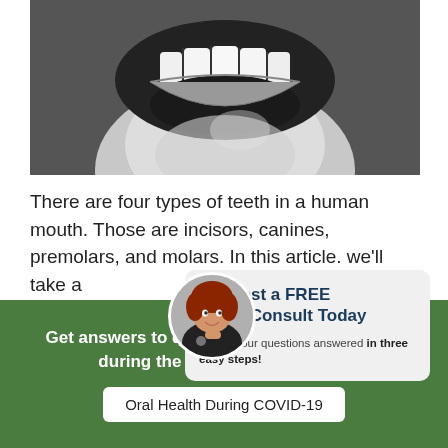[Figure (photo): Black and white close-up photo of a human mouth/teeth from a side angle, showing teeth and neck/chin area]
There are four types of teeth in a human mouth. Those are incisors, canines, premolars, and molars. In this article. we'll take a teeth a proble
[Figure (infographic): Popup card with avatar of smiling red-haired woman. Title: Request a FREE Video Consult Today. Body: Get all your questions answered in three easy steps!]
Get answers to questions about dental work during the COVID-19 Pandemic
Oral Health During COVID-19